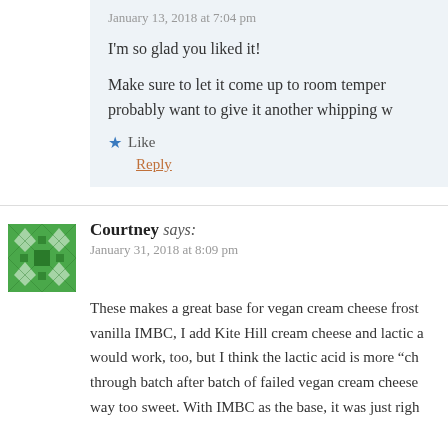January 13, 2018 at 7:04 pm
I'm so glad you liked it!
Make sure to let it come up to room temperature, probably want to give it another whipping w
Like
Reply
Courtney says:
January 31, 2018 at 8:09 pm
These makes a great base for vegan cream cheese frost vanilla IMBC, I add Kite Hill cream cheese and lactic a would work, too, but I think the lactic acid is more "ch through batch after batch of failed vegan cream cheese way too sweet. With IMBC as the base, it was just righ